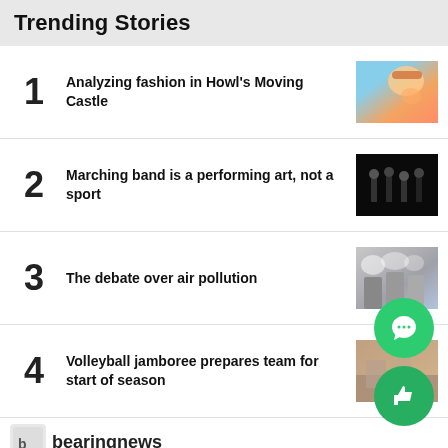Trending Stories
1 Analyzing fashion in Howl's Moving Castle
2 Marching band is a performing art, not a sport
3 The debate over air pollution
4 Volleyball jamboree prepares team for start of season
bearingnews